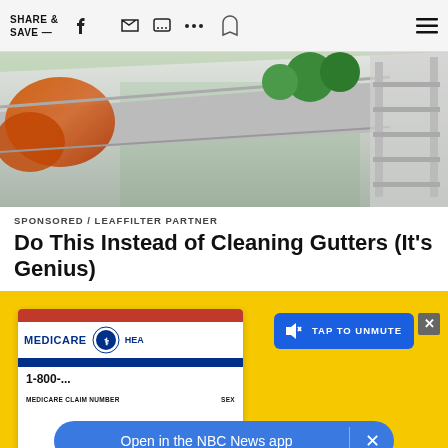SHARE & SAVE —
[Figure (photo): Close-up photo of autumn leaves clogging a residential gutter with a green lawn and ladder visible in the background]
SPONSORED / LEAFFILTER PARTNER
Do This Instead of Cleaning Gutters (It's Genius)
[Figure (screenshot): Advertisement area with yellow background showing a Medicare card and a video player overlay with 'TAP TO UNMUTE' button and 'Open in the NBC News app' prompt]